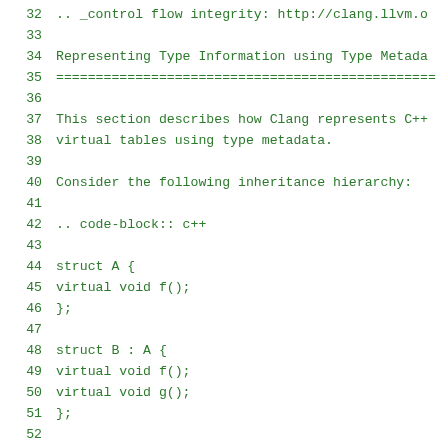32   .. _control flow integrity: http://clang.llvm.o
33
34   Representing Type Information using Type Metadata
35   ==================================================
36
37   This section describes how Clang represents C++
38   virtual tables using type metadata.
39
40   Consider the following inheritance hierarchy:
41
42   .. code-block:: c++
43
44     struct A {
45       virtual void f();
46     };
47
48     struct B : A {
49       virtual void f();
50       virtual void g();
51     };
52